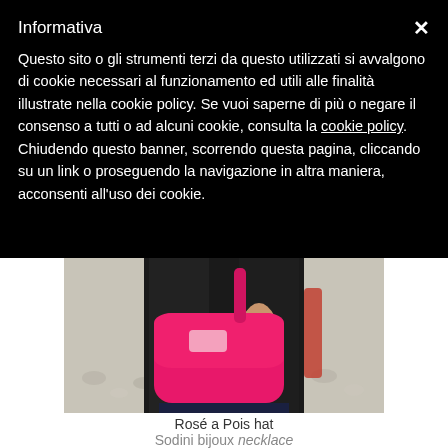Informativa
Questo sito o gli strumenti terzi da questo utilizzati si avvalgono di cookie necessari al funzionamento ed utili alle finalità illustrate nella cookie policy. Se vuoi saperne di più o negare il consenso a tutti o ad alcuni cookie, consulta la cookie policy. Chiudendo questo banner, scorrendo questa pagina, cliccando su un link o proseguendo la navigazione in altra maniera, acconsenti all'uso dei cookie.
[Figure (photo): Person wearing a black leather jacket and carrying a large bright pink/fuchsia crossbody bag, standing in front of pebble/gravel background. A red object partially visible.]
Rosé a Pois hat
Sodini bijoux necklace